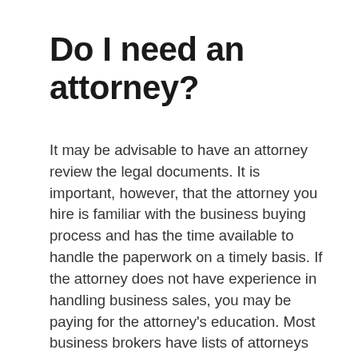Do I need an attorney?
It may be advisable to have an attorney review the legal documents. It is important, however, that the attorney you hire is familiar with the business buying process and has the time available to handle the paperwork on a timely basis. If the attorney does not have experience in handling business sales, you may be paying for the attorney's education. Most business brokers have lists of attorneys who are familiar with the business buying process. An experienced attorney can be of real assistance in making sure that all of the details are handled properly. Business brokers are not qualified to give legal advice. However, keep in mind that many attorneys are not qualified to give business advice. Your attorney will be, and should be, looking after your interests; however, you need to remember